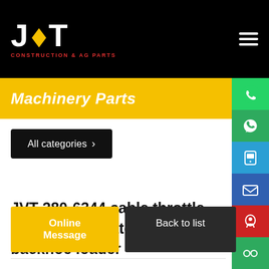[Figure (logo): JVT Construction & AG Parts logo - white bold text on black background with orange diamond accent]
Machinery Parts
All categories >
JVT 280-6344 cable throttle for CAT excavator skid steer backhoe loader
Online Message
Back to list